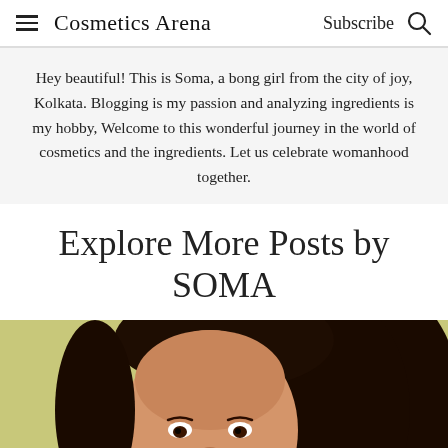Cosmetics Arena  Subscribe
Hey beautiful! This is Soma, a bong girl from the city of joy, Kolkata. Blogging is my passion and analyzing ingredients is my hobby, Welcome to this wonderful journey in the world of cosmetics and the ingredients. Let us celebrate womanhood together.
Explore More Posts by SOMA
[Figure (photo): Photo of Soma, a young woman smiling, with long dark hair, against a yellow-green background.]
[Figure (photo): Partial photo, light/cream background with partial figure visible at bottom of page.]